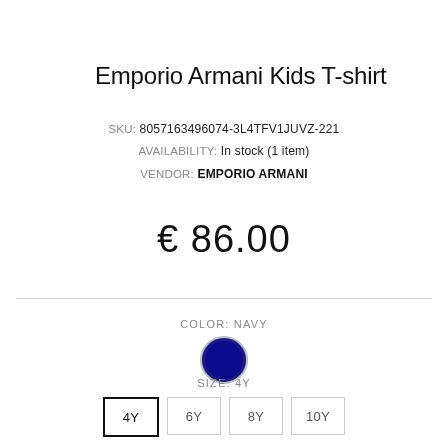Emporio Armani Kids T-shirt
SKU: 8057163496074-3L4TFV1JUVZ-221
AVAILABILITY: In stock (1 item)
VENDOR: EMPORIO ARMANI
€ 86.00
COLOR: NAVY
[Figure (illustration): Navy blue circular color swatch with dark border]
SIZE: 4Y
Size options: 4Y (selected), 6Y, 8Y, 10Y